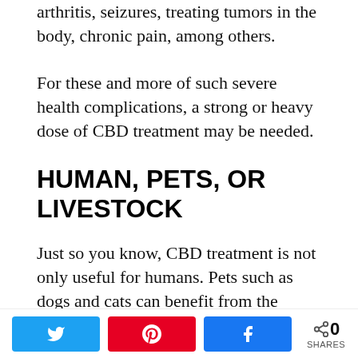arthritis, seizures, treating tumors in the body, chronic pain, among others.
For these and more of such severe health complications, a strong or heavy dose of CBD treatment may be needed.
HUMAN, PETS, OR LIVESTOCK
Just so you know, CBD treatment is not only useful for humans. Pets such as dogs and cats can benefit from the medical wonders that this drug offers. For more information about CBD treatment for pets, you can
[truncated link text]